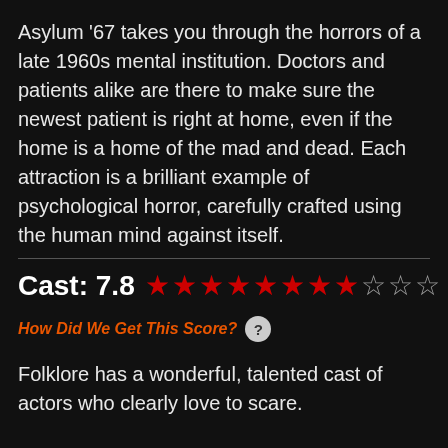Asylum '67 takes you through the horrors of a late 1960s mental institution. Doctors and patients alike are there to make sure the newest patient is right at home, even if the home is a home of the mad and dead. Each attraction is a brilliant example of psychological horror, carefully crafted using the human mind against itself.
Cast: 7.8 ★★★★★★★★☆☆☆
How Did We Get This Score? ?
Folklore has a wonderful, talented cast of actors who clearly love to scare.